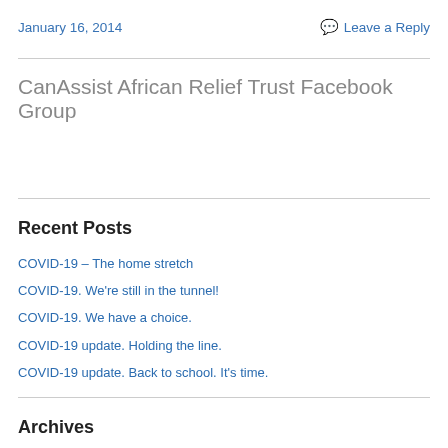January 16, 2014
Leave a Reply
CanAssist African Relief Trust Facebook Group
Recent Posts
COVID-19 – The home stretch
COVID-19. We're still in the tunnel!
COVID-19. We have a choice.
COVID-19 update. Holding the line.
COVID-19 update. Back to school. It's time.
Archives